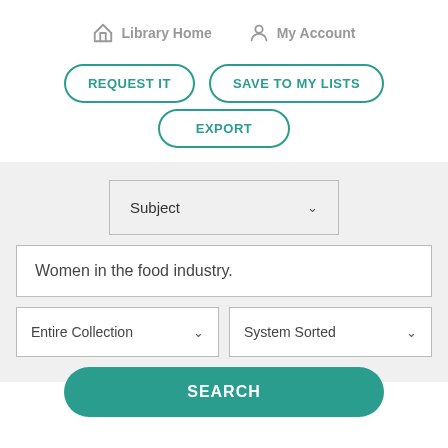Library Home   My Account
REQUEST IT
SAVE TO MY LISTS
EXPORT
Subject
Women in the food industry.
Entire Collection
System Sorted
SEARCH